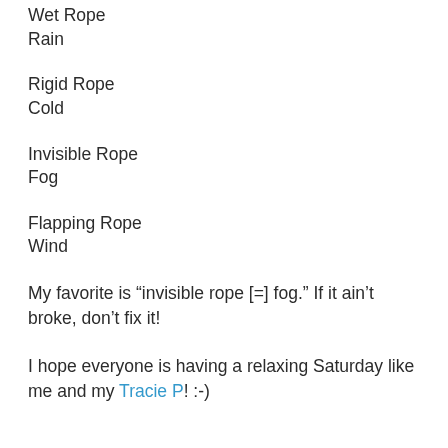Wet Rope
Rain
Rigid Rope
Cold
Invisible Rope
Fog
Flapping Rope
Wind
My favorite is “invisible rope [=] fog.” If it ain’t broke, don’t fix it!
I hope everyone is having a relaxing Saturday like me and my Tracie P! :-)